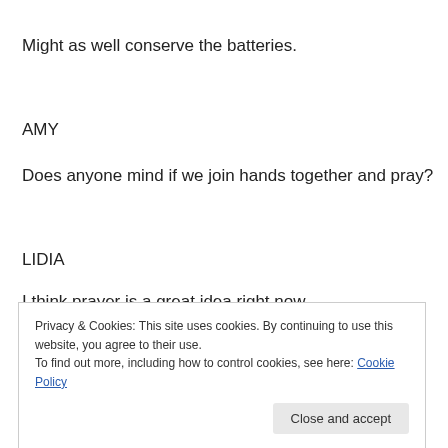Might as well conserve the batteries.
AMY
Does anyone mind if we join hands together and pray?
LIDIA
I think prayer is a great idea right now.
Privacy & Cookies: This site uses cookies. By continuing to use this website, you agree to their use.
To find out more, including how to control cookies, see here: Cookie Policy
Close and accept